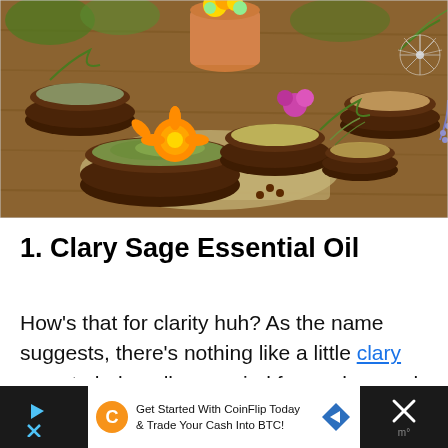[Figure (photo): Overhead photo of various wooden and ceramic bowls filled with dried herbs, flowers, and spices on a wooden table, with a yellow marigold flower, purple flowers, and greenery]
1. Clary Sage Essential Oil
How’s that for clarity huh? As the name suggests, there’s nothing like a little clary sage to help pull your mind from a bog and into crystal clear lucidity. What makes this
[Figure (other): Advertisement bar: Get Started With CoinFlip Today & Trade Your Cash Into BTC! with CoinFlip logo and arrow icon]